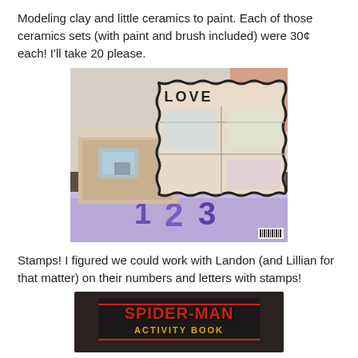Modeling clay and little ceramics to paint. Each of those ceramics sets (with paint and brush included) were 30¢ each! I'll take 20 please.
[Figure (photo): Photo of craft supplies: a decorated box, a LOVE rubber stamp set, and a 123 children's stamp/book set on a table.]
Stamps! I figured we could work with Landon (and Lillian for that matter) on their numbers and letters with stamps!
[Figure (photo): Partial photo of a Spider-Man Activity Book, cropped at bottom of page.]